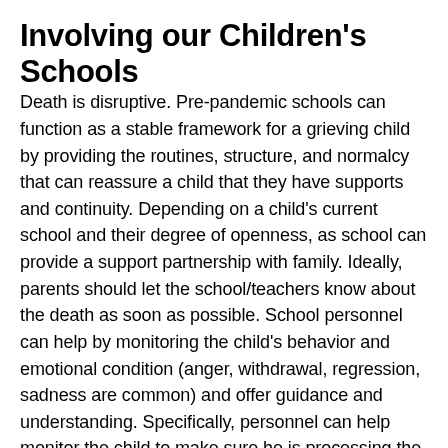Involving our Children's Schools
Death is disruptive. Pre-pandemic schools can function as a stable framework for a grieving child by providing the routines, structure, and normalcy that can reassure a child that they have supports and continuity. Depending on a child's current school and their degree of openness, as school can provide a support partnership with family. Ideally, parents should let the school/teachers know about the death as soon as possible. School personnel can help by monitoring the child's behavior and emotional condition (anger, withdrawal, regression, sadness are common) and offer guidance and understanding. Specifically, personnel can help monitor the child to make sure he is processing the grief, and make referrals for additional support if necessary. The school can also support the community